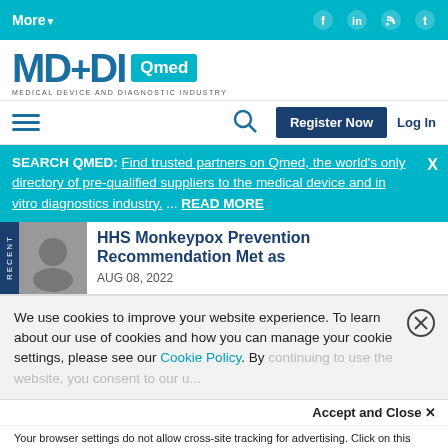More▼
[Figure (logo): MD+DI Qmed logo - Medical Device and Diagnostic Industry]
SEARCH QMED: Find trusted partners on Qmed, the world's only directory of pre-qualified suppliers to the medical device and in vitro diagnostics industry. ... READ MORE X
HHS Monkeypox Prevention Recommendation Met as
AUG 08, 2022
We use cookies to improve your website experience. To learn about our use of cookies and how you can manage your cookie settings, please see our Cookie Policy. By continuing to use the website, you consent to our u...
Accept and Close ✕
Your browser settings do not allow cross-site tracking for advertising. Click on this page to allow AdRoll to use cross-site tracking to tailor ads to you. Learn more or opt out of this AdRoll tracking by clicking here. This message only appears once.